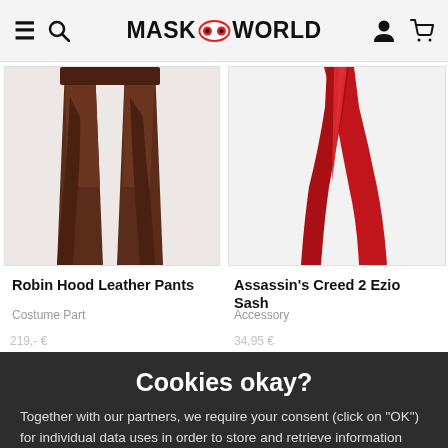MASK WORLD
[Figure (photo): Robin Hood Leather Pants - brown leather pants costume piece]
Robin Hood Leather Pants
Costume Part
[Figure (photo): Assassin's Creed 2 Ezio Sash - red sash accessory]
Assassin's Creed 2 Ezio Sash
Accessory
Cookies okay?
Together with our partners, we require your consent (click on "OK") for individual data uses in order to store and retrieve information (e.g. browser information, user ID, IP address) and to process it or have it processed. The data usage is for personalised functionalities, content and ads
OK
More information